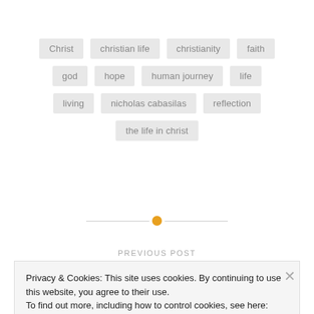Christ
christian life
christianity
faith
god
hope
human journey
life
living
nicholas cabasilas
reflection
the life in christ
PREVIOUS POST
Privacy & Cookies: This site uses cookies. By continuing to use this website, you agree to their use.
To find out more, including how to control cookies, see here: Cookie Policy
Close and accept